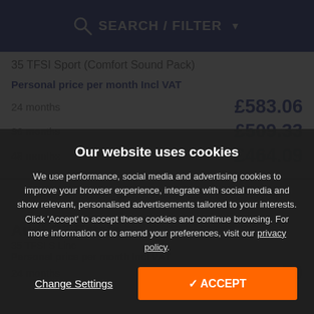SEARCH / FILTER
35 TFSI Sport (Comfort Sound Pack)
Personal price per month Incl VAT
| Term | Price |
| --- | --- |
| 24 months | £583.06 |
| 36 months | £509.33 |
| 48 months | £464.09 |
Audi Q3 Estate
35 TFSI S Line
Personal price per month Incl VAT
24 months £...70
Our website uses cookies
We use performance, social media and advertising cookies to improve your browser experience, integrate with social media and show relevant, personalised advertisements tailored to your interests. Click 'Accept' to accept these cookies and continue browsing. For more information or to amend your preferences, visit our privacy policy.
Change Settings
ACCEPT